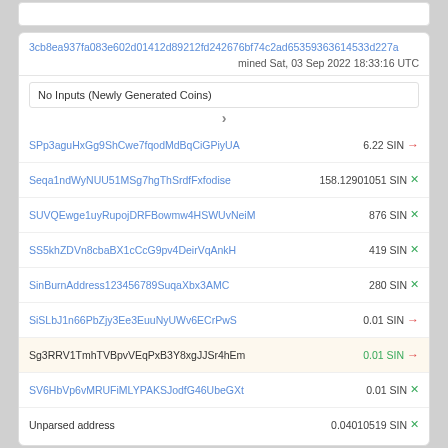3cb8ea937fa083e602d01412d89212fd242676bf74c2ad65359363614533d227a
mined Sat, 03 Sep 2022 18:33:16 UTC
No Inputs (Newly Generated Coins)
>
SPp3aguHxGg9ShCwe7fqodMdBqCiGPiyUA   6.22 SIN →
Seqa1ndWyNUU51MSg7hgThSrdfFxfodise   158.12901051 SIN ×
SUVQEwge1uyRupojDRFBowmw4HSWUvNeiM   876 SIN ×
SS5khZDVn8cbaBX1cCcG9pv4DeirVqAnkH   419 SIN ×
SinBurnAddress123456789SuqaXbx3AMC   280 SIN ×
SiSLbJ1n66PbZjy3Ee3EuuNyUWv6ECrPwS   0.01 SIN →
Sg3RRV1TmhTVBpvVEqPxB3Y8xgJJSr4hEm   0.01 SIN →
SV6HbVp6vMRUFiMLYPAKSJodfG46UbeGXt   0.01 SIN ×
Unparsed address   0.04010519 SIN ×